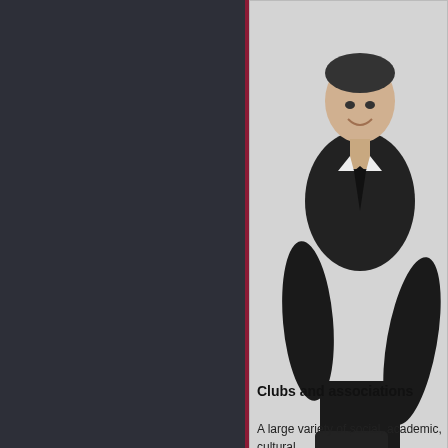[Figure (photo): Black and white photograph of Sam Hunt, president of the Independent Board of Representatives, a young man in a dark suit sitting on what appears to be a desk or table, smiling at the camera.]
Sam Hunt, president of the Independent Board of Representatives. He later became a state representative from Olympia.
Clubs and associations
A large variety of social, academic, cultural